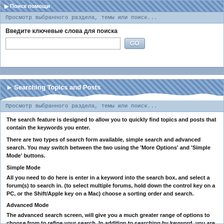Поиск помощи
Просмотр выбранного раздела, темы или поиск...
Введите ключевые слова для поиска
Searching Topics and Posts
Просмотр выбранного раздела, темы или поиск...
The search feature is designed to allow you to quickly find topics and posts that contain the keywords you enter.
There are two types of search form available, simple search and advanced search. You may switch between the two using the 'More Options' and 'Simple Mode' buttons.
Simple Mode
All you need to do here is enter in a keyword into the search box, and select a forum(s) to search in. (to select multiple forums, hold down the control key on a PC, or the Shift/Apple key on a Mac) choose a sorting order and search.
Advanced Mode
The advanced search screen, will give you a much greater range of options to choose from to refine your search. In addition to searching by keyword, you are